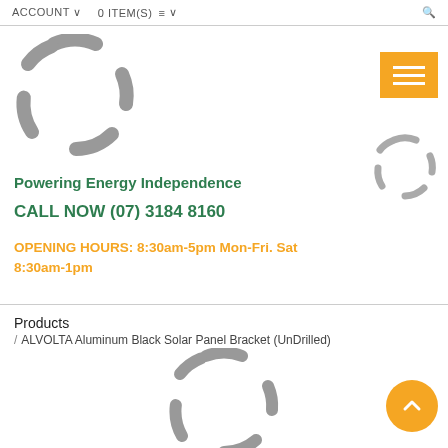ACCOUNT  0 ITEM(S)
[Figure (logo): Dashed circular spinner logo, large, gray]
[Figure (illustration): Orange hamburger menu button with three white horizontal lines]
[Figure (illustration): Dashed circular spinner logo, small, gray, top-right]
Powering Energy Independence
CALL NOW (07) 3184 8160
OPENING HOURS: 8:30am-5pm Mon-Fri. Sat 8:30am-1pm
Products
/ ALVOLTA Aluminum Black Solar Panel Bracket (UnDrilled)
[Figure (logo): Dashed circular spinner logo, medium, gray, bottom center]
[Figure (illustration): Orange circular scroll-to-top button with upward chevron]